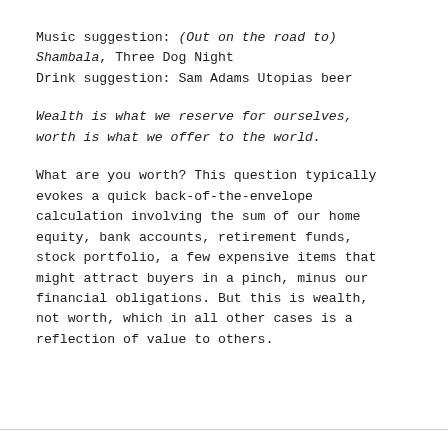Music suggestion: (Out on the road to) Shambala, Three Dog Night
Drink suggestion: Sam Adams Utopias beer
Wealth is what we reserve for ourselves, worth is what we offer to the world.
What are you worth? This question typically evokes a quick back-of-the-envelope calculation involving the sum of our home equity, bank accounts, retirement funds, stock portfolio, a few expensive items that might attract buyers in a pinch, minus our financial obligations. But this is wealth, not worth, which in all other cases is a reflection of value to others.